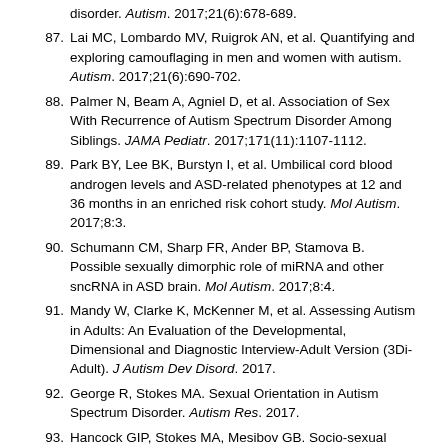disorder. Autism. 2017;21(6):678-689.
87. Lai MC, Lombardo MV, Ruigrok AN, et al. Quantifying and exploring camouflaging in men and women with autism. Autism. 2017;21(6):690-702.
88. Palmer N, Beam A, Agniel D, et al. Association of Sex With Recurrence of Autism Spectrum Disorder Among Siblings. JAMA Pediatr. 2017;171(11):1107-1112.
89. Park BY, Lee BK, Burstyn I, et al. Umbilical cord blood androgen levels and ASD-related phenotypes at 12 and 36 months in an enriched risk cohort study. Mol Autism. 2017;8:3.
90. Schumann CM, Sharp FR, Ander BP, Stamova B. Possible sexually dimorphic role of miRNA and other sncRNA in ASD brain. Mol Autism. 2017;8:4.
91. Mandy W, Clarke K, McKenner M, et al. Assessing Autism in Adults: An Evaluation of the Developmental, Dimensional and Diagnostic Interview-Adult Version (3Di-Adult). J Autism Dev Disord. 2017.
92. George R, Stokes MA. Sexual Orientation in Autism Spectrum Disorder. Autism Res. 2017.
93. Hancock GIP, Stokes MA, Mesibov GB. Socio-sexual functioning in autism spectrum disorder: A systematic review and meta-analyses of existing